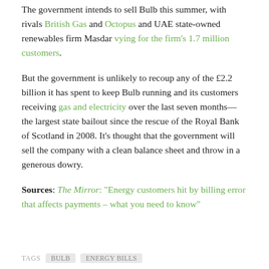The government intends to sell Bulb this summer, with rivals British Gas and Octopus and UAE state-owned renewables firm Masdar vying for the firm's 1.7 million customers.
But the government is unlikely to recoup any of the £2.2 billion it has spent to keep Bulb running and its customers receiving gas and electricity over the last seven months—the largest state bailout since the rescue of the Royal Bank of Scotland in 2008. It's thought that the government will sell the company with a clean balance sheet and throw in a generous dowry.
Sources: The Mirror: "Energy customers hit by billing error that affects payments – what you need to know"
TAGS  BULB  ENERGY BILLS